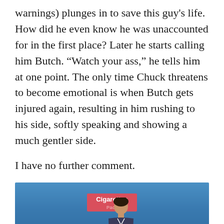warnings) plunges in to save this guy's life. How did he even know he was unaccounted for in the first place? Later he starts calling him Butch. “Watch your ass,” he tells him at one point. The only time Chuck threatens to become emotional is when Butch gets injured again, resulting in him rushing to his side, softly speaking and showing a much gentler side.

I have no further comment.
[Figure (photo): A photo showing a person in front of a blue background with a 'Cigarettes Pack' sign visible.]